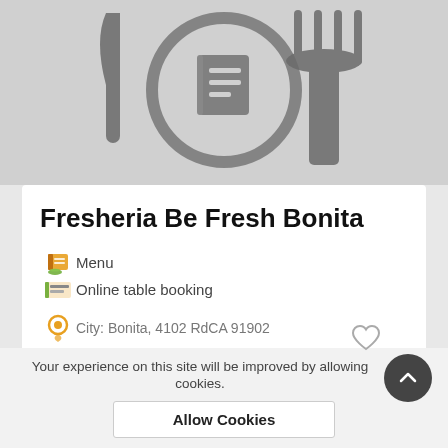[Figure (illustration): Restaurant/dining icon: fork, knife and menu book with a circular element, gray on light gray background]
Fresheria Be Fresh Bonita
Menu
Online table booking
City: Bonita, 4102 RdCA 91902
Die Bar des Restaurants bietet dir nicht nur die Möglichkeit, kalte und erfrischende Getränke zu genießen. Du kannst dort auch Snacks und Speisen zu d...
Your experience on this site will be improved by allowing cookies.
Allow Cookies